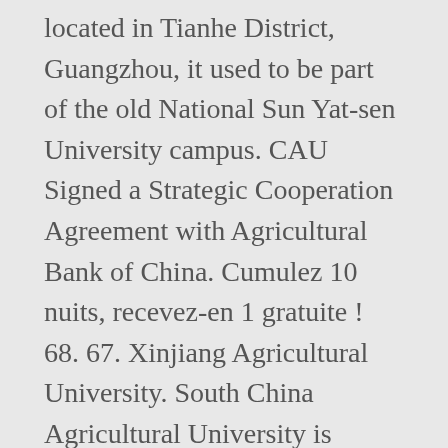located in Tianhe District, Guangzhou, it used to be part of the old National Sun Yat-sen University campus. CAU Signed a Strategic Cooperation Agreement with Agricultural Bank of China. Cumulez 10 nuits, recevez-en 1 gratuite ! 68. 67. Xinjiang Agricultural University. South China Agricultural University is ranked #774 in Best Global Universities. Informations pour étudiants Erasmus à SCAU, South China Agricultural University, Canton, Chine : blogs, expériences et photos. One of the national key universities, South China Agricultural University is a “211 Project” university sponsored by both Guangdong Province and the Ministry of Agriculture during the ninth